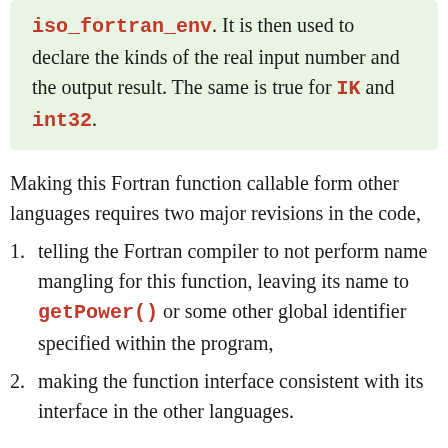iso_fortran_env. It is then used to declare the kinds of the real input number and the output result. The same is true for IK and int32.
Making this Fortran function callable form other languages requires two major revisions in the code,
telling the Fortran compiler to not perform name mangling for this function, leaving its name to getPower() or some other global identifier specified within the program,
making the function interface consistent with its interface in the other languages.